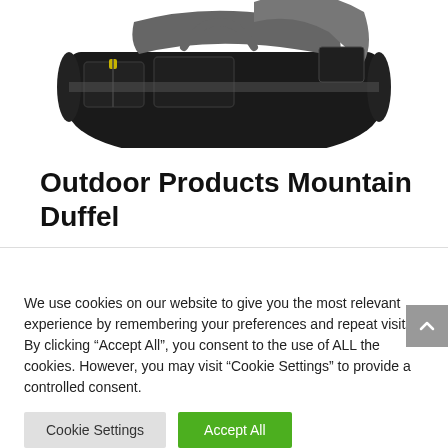[Figure (photo): Black duffel bag with gray straps and yellow zipper pulls, partially cropped at top]
Outdoor Products Mountain Duffel
We use cookies on our website to give you the most relevant experience by remembering your preferences and repeat visits. By clicking “Accept All”, you consent to the use of ALL the cookies. However, you may visit "Cookie Settings" to provide a controlled consent.